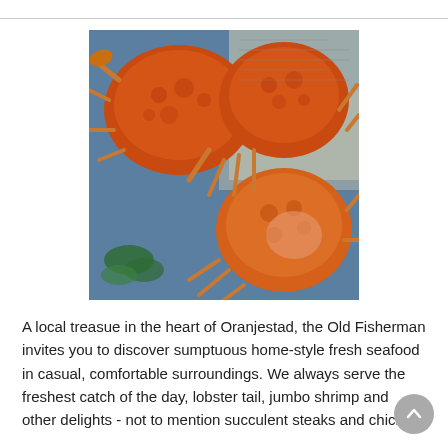[Figure (photo): Overhead view of several cooked Dungeness crabs with orange-red shells and legs arranged on a blue plate with newspaper, photographed close-up.]
A local treasue in the heart of Oranjestad, the Old Fisherman invites you to discover sumptuous home-style fresh seafood in casual, comfortable surroundings. We always serve the freshest catch of the day, lobster tail, jumbo shrimp and other delights - not to mention succulent steaks and chicken.